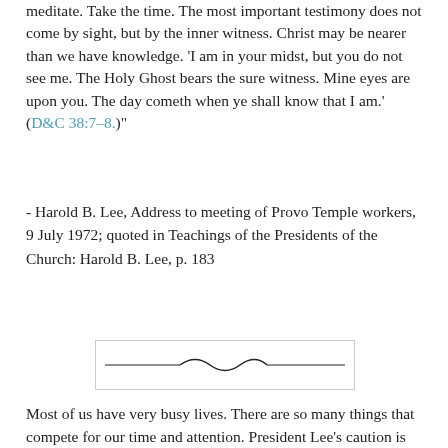meditate. Take the time. The most important testimony does not come by sight, but by the inner witness. Christ may be nearer than we have knowledge. 'I am in your midst, but you do not see me. The Holy Ghost bears the sure witness. Mine eyes are upon you. The day cometh when ye shall know that I am.' (D&C 38:7–8.)"
- Harold B. Lee, Address to meeting of Provo Temple workers, 9 July 1972; quoted in Teachings of the Presidents of the Church: Harold B. Lee, p. 183
[Figure (illustration): Decorative horizontal divider with a wavy flourish in the center, flanked by straight lines, inside a light bordered rectangle]
Most of us have very busy lives. There are so many things that compete for our time and attention. President Lee's caution is very wise; time we spend meditating is so valuable for our peace of mind, our ability to choose and prioritize, and our spiritual stability.
[Figure (photo): Partially visible image with a dark red border at the bottom of the page]